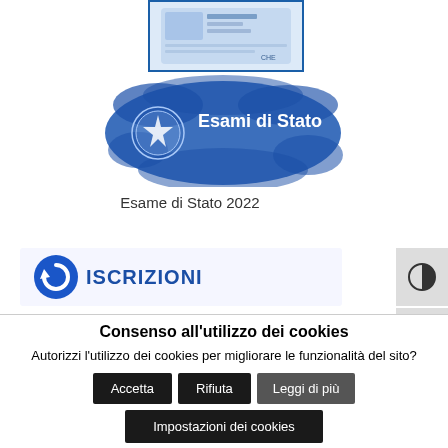[Figure (photo): Partial view of an Italian identity card image inside a blue-bordered frame]
[Figure (logo): Esami di Stato logo — blue splatter background with Italian Republic emblem and white text 'Esami di Stato']
Esame di Stato 2022
[Figure (screenshot): Partial banner with circular blue arrow icon and partial text 'ISCRIZIONI']
Consenso all'utilizzo dei cookies
Autorizzi l'utilizzo dei cookies per migliorare le funzionalità del sito?
Accetta
Rifiuta
Leggi di più
Impostazioni dei cookies